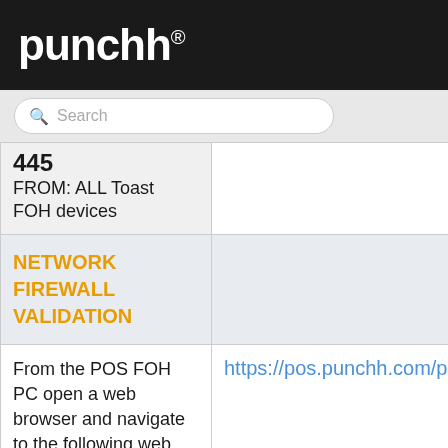punchh.
Search
| 445
FROM: ALL Toast FOH devices |  |
| NETWORK FIREWALL VALIDATION |  |
| From the POS FOH PC open a web browser and navigate to the following web page The web page should | https://pos.punchh.com/ping |